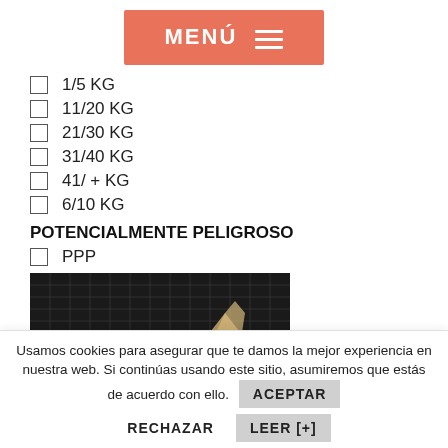[Figure (screenshot): Orange/coral menu button with 'MENÚ' text and hamburger icon]
1/5 KG
11/20 KG
21/30 KG
31/40 KG
41/ + KG
6/10 KG
POTENCIALMENTE PELIGROSO
PPP
[Figure (photo): Dark grid/mesh photo with a hand or object visible]
Usamos cookies para asegurar que te damos la mejor experiencia en nuestra web. Si continúas usando este sitio, asumiremos que estás de acuerdo con ello.
ACEPTAR
RECHAZAR
LEER [+]